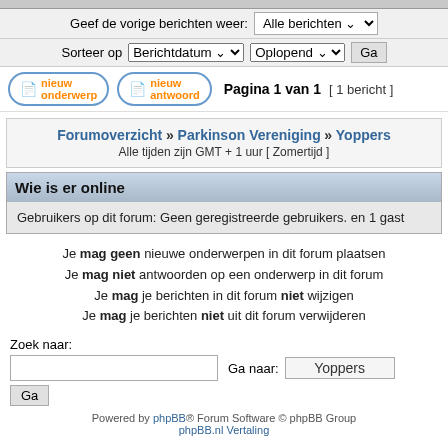Geef de vorige berichten weer: Alle berichten
Sorteer op Berichtdatum Oplopend Ga
nieuw onderwerp   nieuw antwoord   Pagina 1 van 1  [ 1 bericht ]
Forumoverzicht » Parkinson Vereniging » Yoppers
Alle tijden zijn GMT + 1 uur [ Zomertijd ]
Wie is er online
Gebruikers op dit forum: Geen geregistreerde gebruikers. en 1 gast
Je mag geen nieuwe onderwerpen in dit forum plaatsen
Je mag niet antwoorden op een onderwerp in dit forum
Je mag je berichten in dit forum niet wijzigen
Je mag je berichten niet uit dit forum verwijderen
Zoek naar:
Ga naar: Yoppers
Powered by phpBB® Forum Software © phpBB Group
phpBB.nl Vertaling